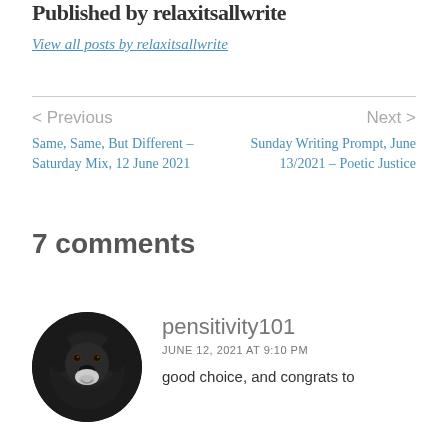Published by relaxitsallwrite
View all posts by relaxitsallwrite
< Previous
Same, Same, But Different – Saturday Mix, 12 June 2021
Next >
Sunday Writing Prompt, June 13/2021 – Poetic Justice
7 comments
[Figure (photo): Circular avatar photo of a black dog (pensitivity101 commenter profile picture)]
pensitivity101
JUNE 12, 2021 AT 9:10 PM
good choice, and congrats to